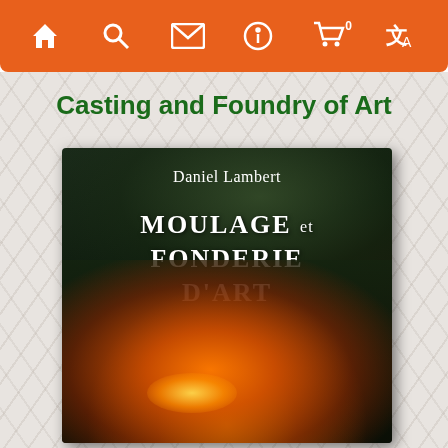Navigation bar with home, search, mail, info, cart (0), translate icons
Casting and Foundry of Art
[Figure (photo): Book cover of 'Moulage et Fonderie d'Art' by Daniel Lambert. Dark background with glowing molten metal being poured, with smoke/fumes visible. White text on dark cover shows author name at top and title in large bold letters.]